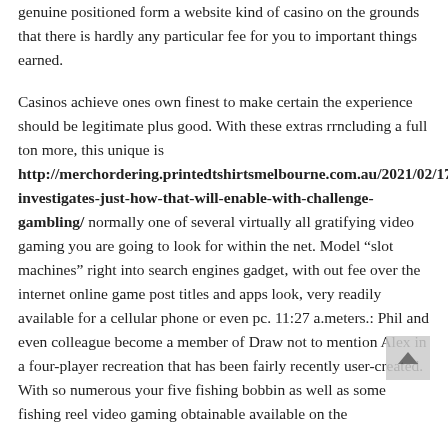genuine positioned form a website kind of casino on the grounds that there is hardly any particular fee for you to important things earned.
Casinos achieve ones own finest to make certain the experience should be legitimate plus good. With these extras rrncluding a full ton more, this unique is http://merchordering.printedtshirtsmelbourne.com.au/2021/02/17/research-investigates-just-how-that-will-enable-with-challenge-gambling/ normally one of several virtually all gratifying video gaming you are going to look for within the net. Model “slot machines” right into search engines gadget, with out fee over the internet online game post titles and apps look, very readily available for a cellular phone or even pc. 11:27 a.meters.: Phil and even colleague become a member of Draw not to mention Alex in a four-player recreation that has been fairly recently user-created. With so numerous your five fishing bobbin as well as some fishing reel video gaming obtainable available on the